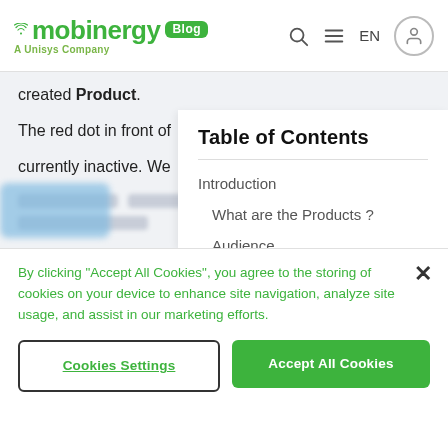mobinergy Blog — A Unisys Company
created Product.
The red dot in front of currently inactive. We
Table of Contents
Introduction
What are the Products ?
Audience
Prerequisites
The Scenario
Let's now build the Product
By clicking “Accept All Cookies”, you agree to the storing of cookies on your device to enhance site navigation, analyze site usage, and assist in our marketing efforts.
Cookies Settings
Accept All Cookies